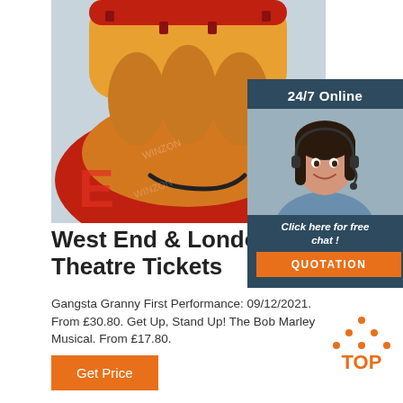[Figure (photo): Photo of an orange and red inflatable bumper boat or ride-on inflatable toy, viewed from above/front, showing cushioned seating area and handles, on a light grey surface.]
[Figure (infographic): Sidebar widget with dark blue-grey background showing '24/7 Online' text, photo of a smiling woman with headset, italic text 'Click here for free chat!' and an orange 'QUOTATION' button.]
West End & London Theatre Tickets
Gangsta Granny First Performance: 09/12/2021. From £30.80. Get Up, Stand Up! The Bob Marley Musical. From £17.80.
[Figure (logo): TOP logo with orange triangle/chevron above the word TOP in orange text]
Get Price